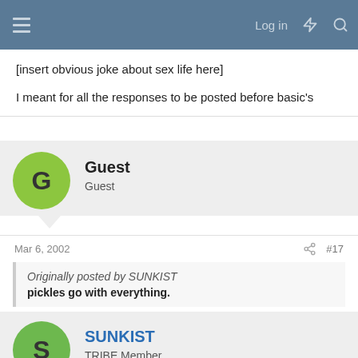Log in
[insert obvious joke about sex life here]
I meant for all the responses to be posted before basic's
Guest
Guest
Mar 6, 2002  #17
Originally posted by SUNKIST
pickles go with everything.
....except all the things they don't.
SUNKIST
TRIBE Member